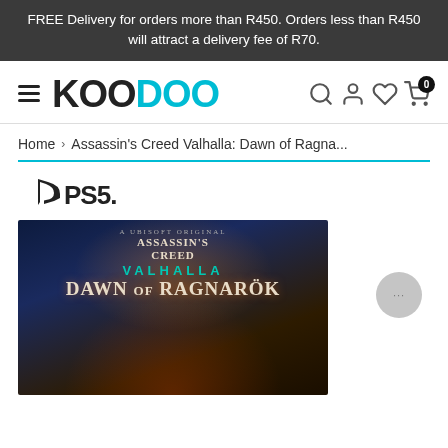FREE Delivery for orders more than R450. Orders less than R450 will attract a delivery fee of R70.
[Figure (logo): KOODOO logo with hamburger menu and navigation icons (search, user, heart, cart with 0 badge)]
Home › Assassin's Creed Valhalla: Dawn of Ragna...
[Figure (photo): PS5 logo above Assassin's Creed Valhalla: Dawn of Ragnarök game cover art showing a burning, flame-engulfed Viking character]